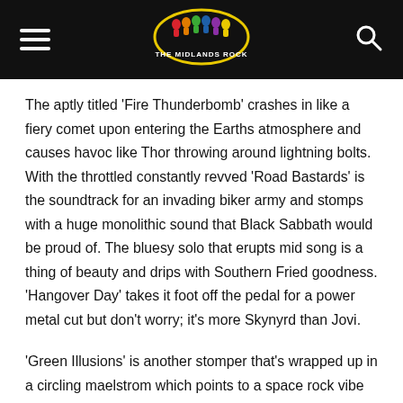The Midlands Rock
The aptly titled ‘Fire Thunderbomb’ crashes in like a fiery comet upon entering the Earths atmosphere and causes havoc like Thor throwing around lightning bolts. With the throttled constantly revved ‘Road Bastards’ is the soundtrack for an invading biker army and stomps with a huge monolithic sound that Black Sabbath would be proud of. The bluesy solo that erupts mid song is a thing of beauty and drips with Southern Fried goodness. ‘Hangover Day’ takes it foot off the pedal for a power metal cut but don’t worry; it’s more Skynyrd than Jovi.
‘Green Illusions’ is another stomper that's wrapped up in a circling maelstrom which points to a space rock vibe and is akin to a four minute, brutal beatdown. ‘Desert Chaos’ is hard and heavy yet infused with a strong melody. The pounding